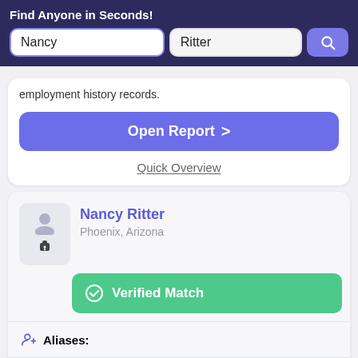Find Anyone in Seconds!
employment history records.
Open Report >
Quick Overview
Nancy Ritter
Phoenix, Arizona
Verified Match
Aliases:
Nancy Ritter
Phone Numbers: